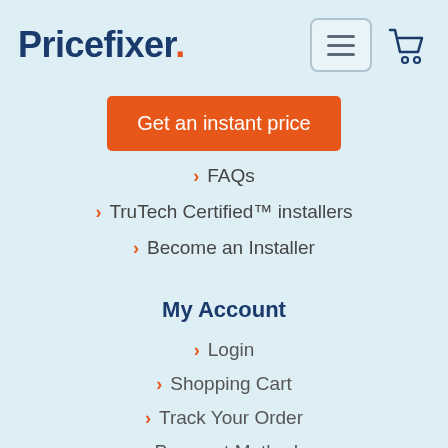Pricefixer
Get an instant price
> FAQs
> TruTech Certified™ installers
> Become an Installer
My Account
> Login
> Shopping Cart
> Track Your Order
> Payment Methods